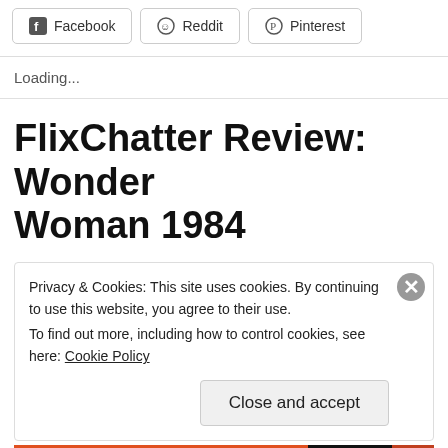[Figure (other): Social share buttons row: Facebook, Reddit, Pinterest]
Loading...
FlixChatter Review: Wonder Woman 1984
Privacy & Cookies: This site uses cookies. By continuing to use this website, you agree to their use.
To find out more, including how to control cookies, see here: Cookie Policy
Close and accept